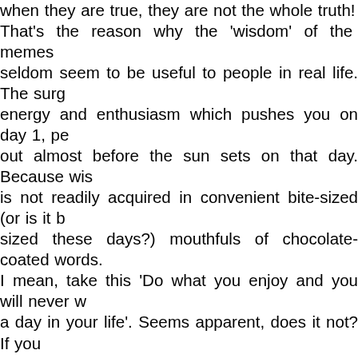when they are true, they are not the whole truth! That's the reason why the 'wisdom' of the memes seldom seem to be useful to people in real life. The surge energy and enthusiasm which pushes you on day 1, peters out almost before the sun sets on that day. Because wisdom is not readily acquired in convenient bite-sized (or is it byte-sized these days?) mouthfuls of chocolate-coated words. I mean, take this 'Do what you enjoy and you will never work a day in your life'. Seems apparent, does it not? If you enjoy what you are doing, then doing it does not seem like work, does it? Nice, easy, simple and so stupid that people do not avail such a easy route to happiness! You LOVE cricket? Nice! And you are going to do it and never work a day of your life? Great! Love the idea of getting up almost before the sun and practicing in the nets? Field practice - does that seem like work or play? A couple of hours at the gym every goddamn day-your idea of joy? Can you gorge on your favorite biryani when you please, that's what you were looking forward to in life? Going out of f